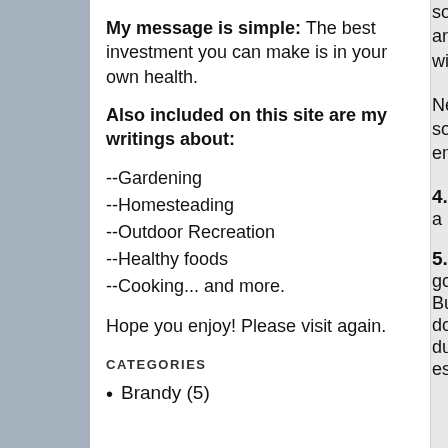My message is simple: The best investment you can make is in your own health.
Also included on this site are my writings about:
--Gardening
--Homesteading
--Outdoor Recreation
--Healthy foods
--Cooking... and more.
Hope you enjoy! Please visit again.
CATEGORIES
Brandy (5)
some... are go will be
Never songs empha
4.  We a regu
5.  On good t But the do so duties establi